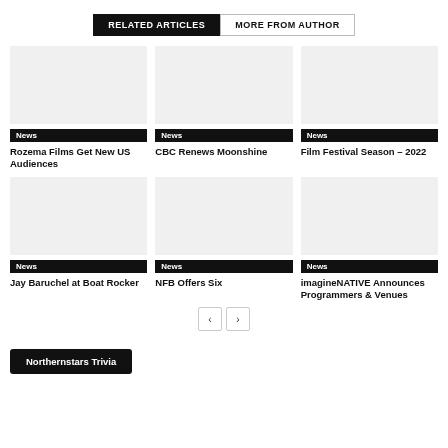RELATED ARTICLES | MORE FROM AUTHOR
[Figure (screenshot): Article card image placeholder for Rozema Films]
News
Rozema Films Get New US Audiences
[Figure (screenshot): Article card image placeholder for CBC Moonshine]
News
CBC Renews Moonshine
[Figure (screenshot): Article card image placeholder for Film Festival]
News
Film Festival Season – 2022
[Figure (screenshot): Article card image placeholder for Jay Baruchel]
News
Jay Baruchel at Boat Rocker
[Figure (screenshot): Article card image placeholder for NFB]
News
NFB Offers Six
[Figure (screenshot): Article card image placeholder for imagineNATIVE]
News
imagineNATIVE Announces Programmers & Venues
Northernstars Trivia